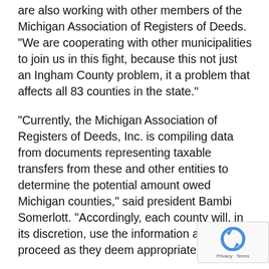are also working with other members of the Michigan Association of Registers of Deeds. “We are cooperating with other municipalities to join us in this fight, because this not just an Ingham County problem, it a problem that affects all 83 counties in the state.”
“Currently, the Michigan Association of Registers of Deeds, Inc. is compiling data from documents representing taxable transfers from these and other entities to determine the potential amount owed Michigan counties,” said president Bambi Somerlott. “Accordingly, each county will, in its discretion, use the information and proceed as they deem appropriate.”